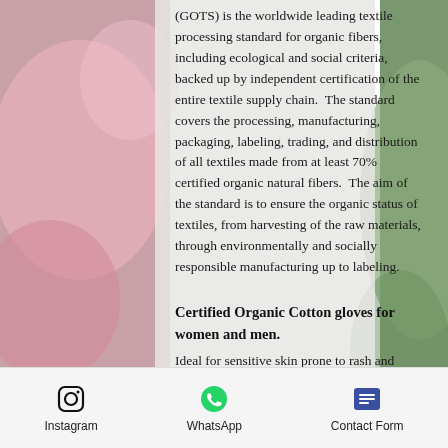(GOTS) is the worldwide leading textile processing standard for organic fibers, including ecological and social criteria, backed up by independent certification of the entire textile supply chain.  The standard covers the processing, manufacturing, packaging, labeling, trading, and distribution of all textiles made from at least 70% certified organic natural fibers.  The aim of the standard is to ensure the organic status of textiles, from harvesting of the raw materials, through environmentally and socially responsible manufacturing up to labeling.
Certified Organic Cotton gloves for women and men.
Ideal for sensitive skin prone to rash and allergy, eczema, psoriasis, and chemical
Instagram   WhatsApp   Contact Form